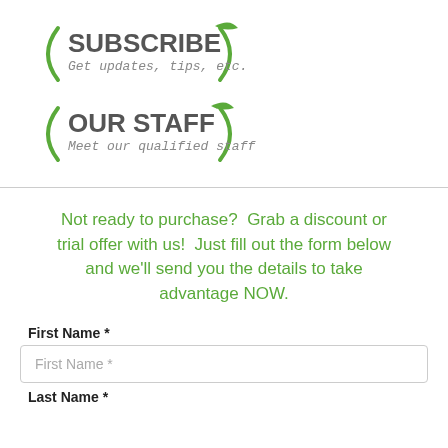[Figure (logo): Subscribe logo with green apple/parenthesis design and text 'SUBSCRIBE / Get updates, tips, etc.']
[Figure (logo): Our Staff logo with green apple/parenthesis design and text 'OUR STAFF / Meet our qualified staff']
Not ready to purchase?  Grab a discount or trial offer with us!  Just fill out the form below and we'll send you the details to take advantage NOW.
First Name *
First Name *
Last Name *